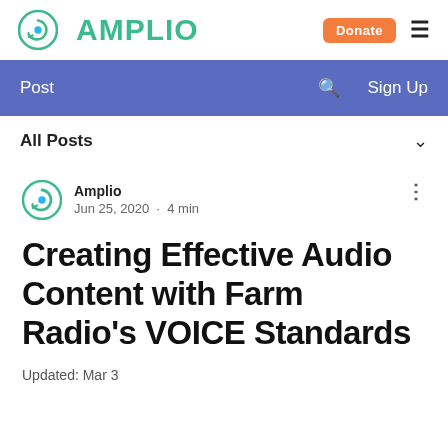[Figure (logo): Amplio logo with circular icon and green text, Donate orange button, and hamburger menu]
Post   Search   Sign Up
All Posts
Amplio
Jun 25, 2020 · 4 min
Creating Effective Audio Content with Farm Radio's VOICE Standards
Updated: Mar 3